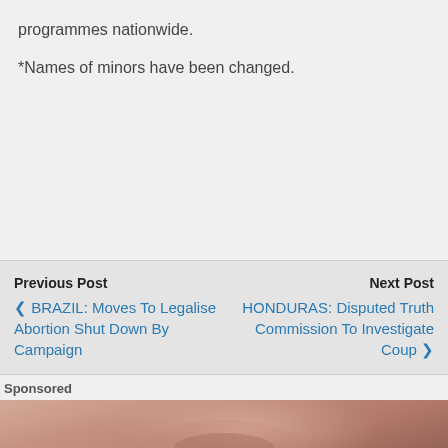programmes nationwide.
*Names of minors have been changed.
Previous Post
❮ BRAZIL: Moves To Legalise Abortion Shut Down By Campaign
Next Post
HONDURAS: Disputed Truth Commission To Investigate Coup ❯
Sponsored
[Figure (photo): Close-up photograph of male skin with stubble/beard growth visible in lower portion]